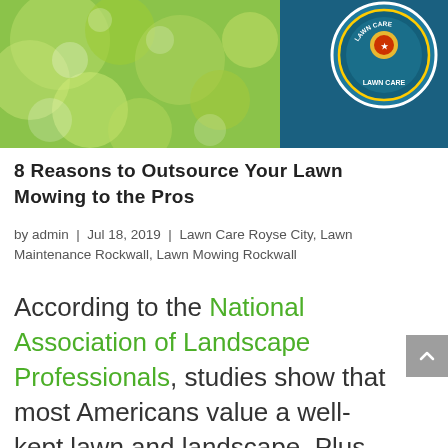[Figure (photo): Hero image showing green bokeh lawn background on the left and a lawn care company logo/badge on a teal background on the right]
8 Reasons to Outsource Your Lawn Mowing to the Pros
by admin | Jul 18, 2019 | Lawn Care Royse City, Lawn Maintenance Rockwall, Lawn Mowing Rockwall
According to the National Association of Landscape Professionals, studies show that most Americans value a well-kept lawn and landscape. Plus, they believe it’s also important to spend time enjoying their yards.